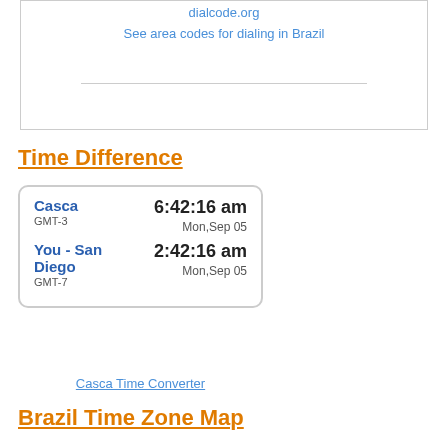dialcode.org
See area codes for dialing in Brazil
Time Difference
| Location | Time | Date |
| --- | --- | --- |
| Casca
GMT-3 | 6:42:16 am | Mon,Sep 05 |
| You - San Diego
GMT-7 | 2:42:16 am | Mon,Sep 05 |
Casca Time Converter
Brazil Time Zone Map